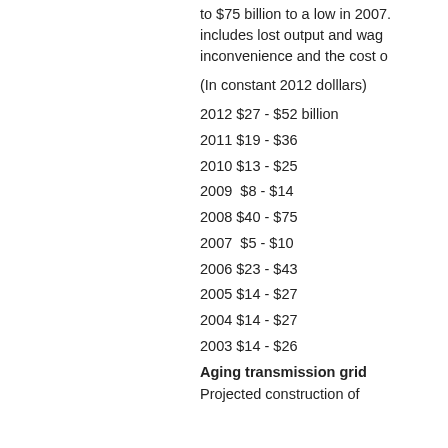to $75 billion to a low in 2007. [text continues] includes lost output and wag... inconvenience and the cost o...
(In constant 2012 dolllars)
2012 $27 - $52 billion
2011 $19 - $36
2010 $13 - $25
2009  $8 - $14
2008 $40 - $75
2007  $5 - $10
2006 $23 - $43
2005 $14 - $27
2004 $14 - $27
2003 $14 - $26
Aging transmission grid
Projected construction of